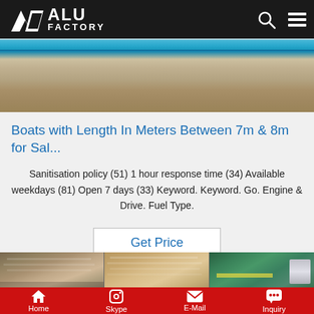ALU FACTORY
[Figure (photo): Close-up of aluminum sheets or boat hull with blue stripe at top and metallic/tan surface below]
Boats with Length In Meters Between 7m & 8m for Sal...
Sanitisation policy (51) 1 hour response time (34) Available weekdays (81) Open 7 days (33) Keyword. Keyword. Go. Engine & Drive. Fuel Type.
Get Price
[Figure (photo): Three panel image showing aluminum sheets stacked in a warehouse/factory setting]
Home   Skype   E-Mail   Inquiry